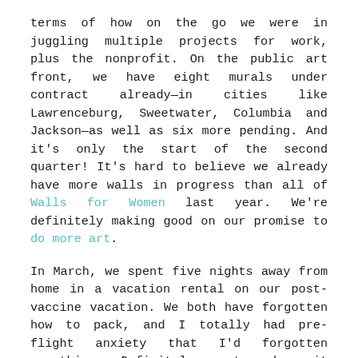terms of how on the go we were in juggling multiple projects for work, plus the nonprofit. On the public art front, we have eight murals under contract already—in cities like Lawrenceburg, Sweetwater, Columbia and Jackson—as well as six more pending. And it's only the start of the second quarter! It's hard to believe we already have more walls in progress than all of Walls for Women last year. We're definitely making good on our promise to do more art.
In March, we spent five nights away from home in a vacation rental on our post-vaccine vacation. We both have forgotten how to pack, and I totally had pre-flight anxiety that I'd forgotten something. Definitely rusty when it comes to air travel, but overall the flying experience wasn't that unpleasant.